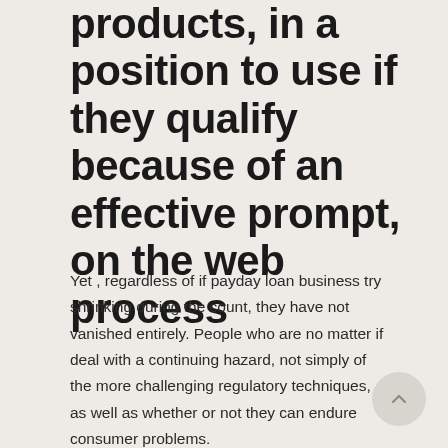products, in a position to use if they qualify because of an effective prompt, on the web process
Yet , regardless of if payday loan business try shrinking during the count, they have not vanished entirely. People who are no matter if deal with a continuing hazard, not simply of the more challenging regulatory techniques, as well as whether or not they can endure consumer problems.